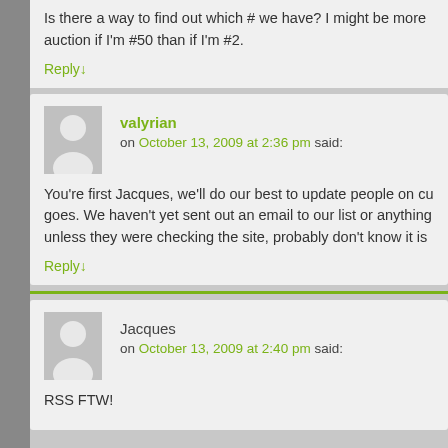Is there a way to find out which # we have? I might be more interested in the auction if I'm #50 than if I'm #2.
Reply↓
valyrian
on October 13, 2009 at 2:36 pm said:
You're first Jacques, we'll do our best to update people on cu goes. We haven't yet sent out an email to our list or anything unless they were checking the site, probably don't know it is
Reply↓
Jacques
on October 13, 2009 at 2:40 pm said:
RSS FTW!